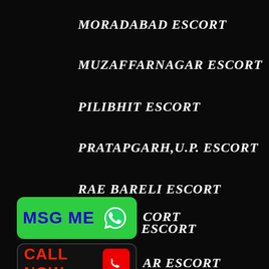MORADABAD ESCORT
MUZAFFARNAGAR ESCORT
PILIBHIT ESCORT
PRATAPGARH,U.P. ESCORT
RAE BARELI ESCORT
RAMPUR ESCORT
[Figure (infographic): Green button with MSG ME text and WhatsApp icon]
...CORT (partially obscured escort listing)
[Figure (infographic): Black button with CALL NOW text and red phone icon]
...AR ESCORT (partially obscured escort listing)